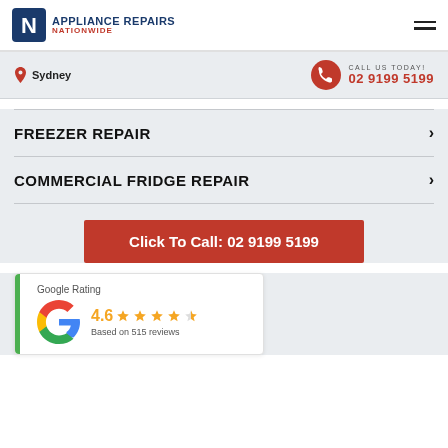[Figure (logo): Appliance Repairs Nationwide logo with N icon and text]
Sydney
CALL US TODAY! 02 9199 5199
FREEZER REPAIR
COMMERCIAL FRIDGE REPAIR
Click To Call: 02 9199 5199
[Figure (infographic): Google Rating card showing 4.6 stars based on 515 reviews]